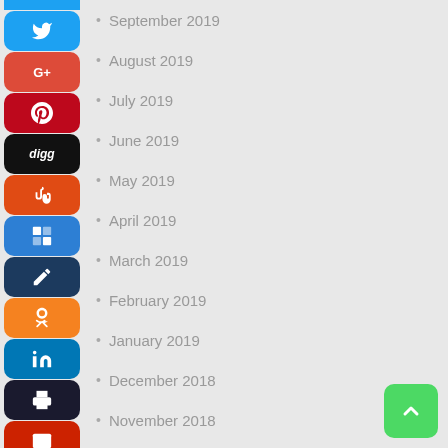September 2019
August 2019
July 2019
June 2019
May 2019
April 2019
March 2019
February 2019
January 2019
December 2018
November 2018
October 2018
September 2018
August 2018
July 2018
June 2018
May 2018
April 2018
March 2018
February 2018
January 2018
December 2017
November 2017